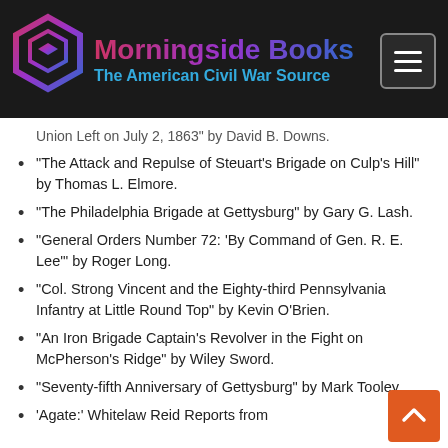Morningside Books — The American Civil War Source
"The Attack and Repulse of Steuart's Brigade on Culp's Hill" by Thomas L. Elmore.
"The Philadelphia Brigade at Gettysburg" by Gary G. Lash.
"General Orders Number 72: 'By Command of Gen. R. E. Lee'" by Roger Long.
"Col. Strong Vincent and the Eighty-third Pennsylvania Infantry at Little Round Top" by Kevin O'Brien.
"An Iron Brigade Captain's Revolver in the Fight on McPherson's Ridge" by Wiley Sword.
"Seventy-fifth Anniversary of Gettysburg" by Mark Tooley.
'Agate:' Whitelaw Reid Reports from